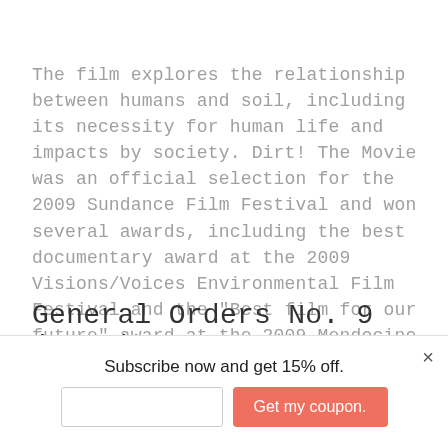The film explores the relationship between humans and soil, including its necessity for human life and impacts by society. Dirt! The Movie was an official selection for the 2009 Sundance Film Festival and won several awards, including the best documentary award at the 2009 Visions/Voices Environmental Film Festival and the "Best film for our future" award at the 2009 Mendocino Film Festival
General Orders No. 9 (2012)
[Figure (photo): Dark strip showing bottom of a photograph]
Subscribe now and get 15% off.
Get my coupon.